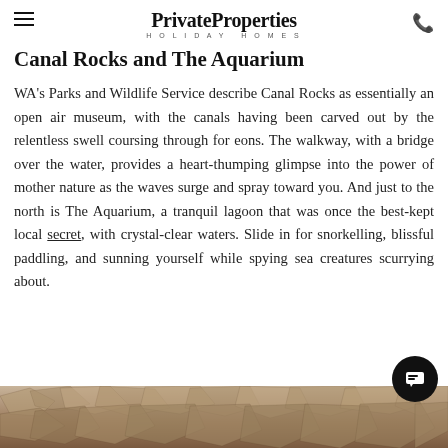PrivateProperties HOLIDAY HOMES
Canal Rocks and The Aquarium
WA's Parks and Wildlife Service describe Canal Rocks as essentially an open air museum, with the canals having been carved out by the relentless swell coursing through for eons. The walkway, with a bridge over the water, provides a heart-thumping glimpse into the power of mother nature as the waves surge and spray toward you. And just to the north is The Aquarium, a tranquil lagoon that was once the best-kept local secret, with crystal-clear waters. Slide in for snorkelling, blissful paddling, and sunning yourself while spying sea creatures scurrying about.
[Figure (photo): Rocky coastal landscape with rugged stones in warm tan and brown tones, visible at the bottom of the page.]